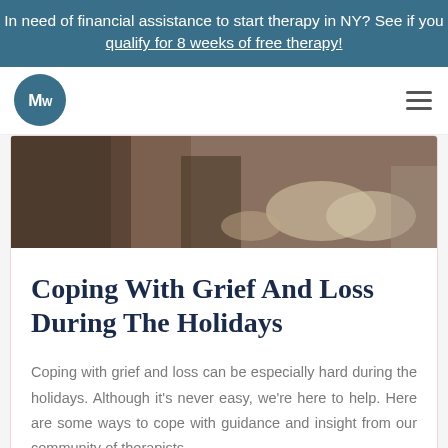In need of financial assistance to start therapy in NY? See if you qualify for 8 weeks of free therapy!
[Figure (logo): MW logo — circular teal badge with white stylized MW letters]
[Figure (photo): Cropped photo showing a table top with baskets of dried flowers, bowls, and wooden items in warm earthy tones]
Coping With Grief And Loss During The Holidays
Coping with grief and loss can be especially hard during the holidays. Although it's never easy, we're here to help. Here are some ways to cope with guidance and insight from our community of therapists.